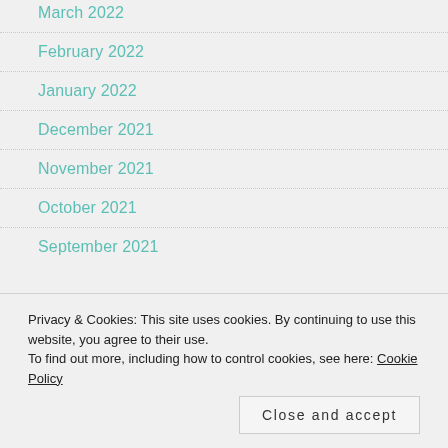March 2022
February 2022
January 2022
December 2021
November 2021
October 2021
September 2021
Privacy & Cookies: This site uses cookies. By continuing to use this website, you agree to their use. To find out more, including how to control cookies, see here: Cookie Policy
Close and accept